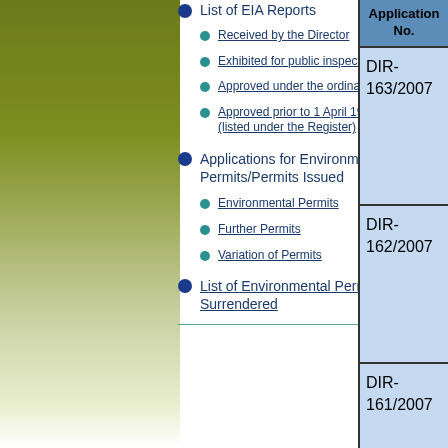List of EIA Reports
Received by the Director
Exhibited for public inspection
Approved under the ordinance
Approved prior to 1 April 1998 (listed under the Register)
Applications for Environmental Permits/Permits Issued
Environmental Permits
Further Permits
Variation of Permits
List of Environmental Permits Surrendered
| Application No. |
| --- |
| DIR-163/2007 |
| DIR-162/2007 |
| DIR-161/2007 |